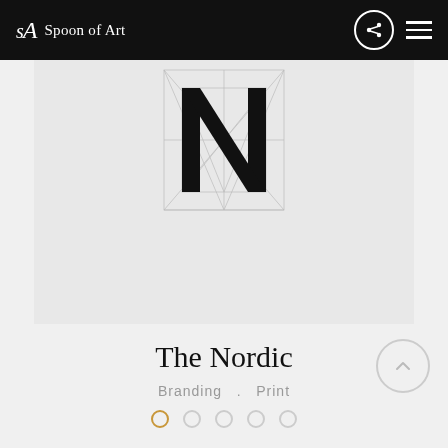SA Spoon of Art
[Figure (illustration): Letter N construction diagram with geometric grid lines on light gray background, showing the construction/design of the letter N with thin diagonal guidelines]
The Nordic
Branding  .  Print